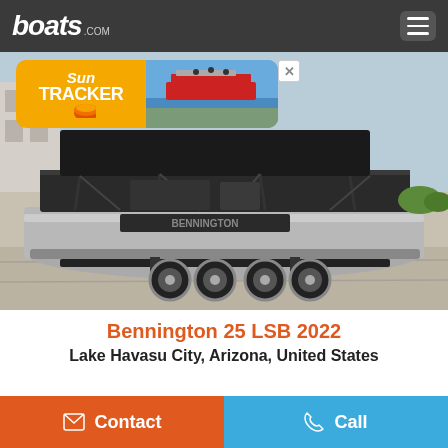boats.com
[Figure (photo): Bennington pontoon boat on a trailer in a parking lot, black canopy top, silver aluminum hull, dual axle trailer with chrome wheels. Sun Tracker advertisement banner overlaid at top.]
Bennington 25 LSB 2022
Lake Havasu City, Arizona, United States
Contact   Call